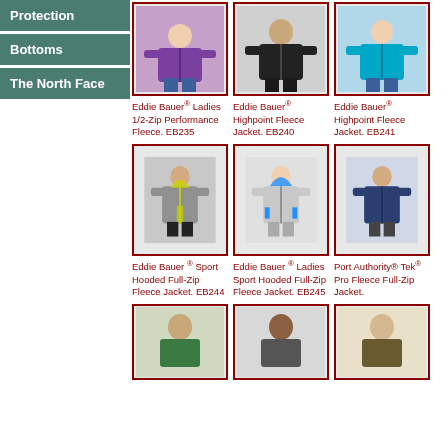Protection
Bottoms
The North Face
[Figure (photo): Eddie Bauer Ladies 1/2-Zip Performance Fleece in purple, model wearing it]
Eddie Bauer® Ladies 1/2-Zip Performance Fleece. EB235
[Figure (photo): Eddie Bauer Highpoint Fleece Jacket in black, male model]
Eddie Bauer® Highpoint Fleece Jacket. EB240
[Figure (photo): Eddie Bauer Highpoint Fleece Jacket in teal/turquoise, female model]
Eddie Bauer® Highpoint Fleece Jacket. EB241
[Figure (photo): Eddie Bauer Sport Hooded Full-Zip Fleece Jacket in grey with yellow accents, male model]
Eddie Bauer ® Sport Hooded Full-Zip Fleece Jacket. EB244
[Figure (photo): Eddie Bauer Ladies Sport Hooded Full-Zip Fleece Jacket in light grey with blue accents]
Eddie Bauer ® Ladies Sport Hooded Full-Zip Fleece Jacket. EB245
[Figure (photo): Port Authority Tek Pro Fleece Full-Zip Jacket in navy, male model]
Port Authority® Tek® Pro Fleece Full-Zip Jacket.